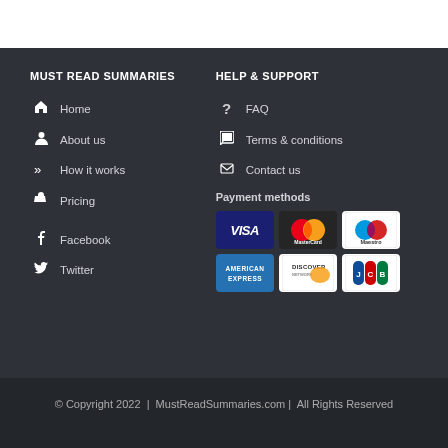MUST READ SUMMARIES
HELP & SUPPORT
Home
FAQ
About us
Terms & conditions
How it works
Contact us
Pricing
Payment methods
Facebook
[Figure (logo): Payment method logos: VISA, MasterCard, Maestro, American Express, Discover, JCB]
Twitter
© Copyright 2022  |  MustReadSummaries.com |  All Rights Reserved